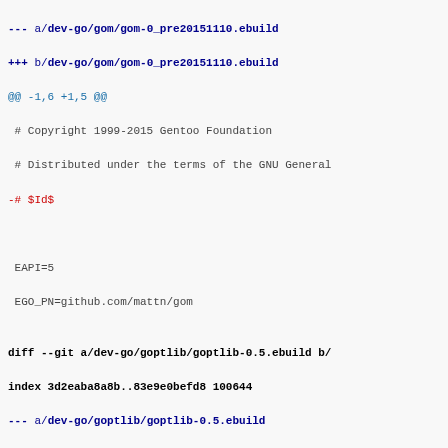--- a/dev-go/gom/gom-0_pre20151110.ebuild
+++ b/dev-go/gom/gom-0_pre20151110.ebuild
@@ -1,6 +1,5 @@
# Copyright 1999-2015 Gentoo Foundation
# Distributed under the terms of the GNU General
-# $Id$
EAPI=5
EGO_PN=github.com/mattn/gom
diff --git a/dev-go/goptlib/goptlib-0.5.ebuild b/
index 3d2eaba8a8b..83e9e0befd8 100644
--- a/dev-go/goptlib/goptlib-0.5.ebuild
+++ b/dev-go/goptlib/goptlib-0.5.ebuild
@@ -1,6 +1,5 @@
# Copyright 1999-2016 Gentoo Foundation
# Distributed under the terms of the GNU General
-# $Id$
EAPI=6
diff --git a/dev-go/goptlib/goptlib-0.6.ebuild b/